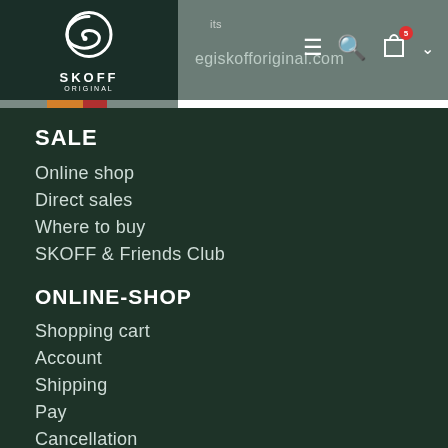[Figure (logo): Skoff Original logo with stylized S symbol and colored bar]
egiskofforiginal.com
SALE
Online shop
Direct sales
Where to buy
SKOFF & Friends Club
ONLINE-SHOP
Shopping cart
Account
Shipping
Pay
Cancellation
Terms of service